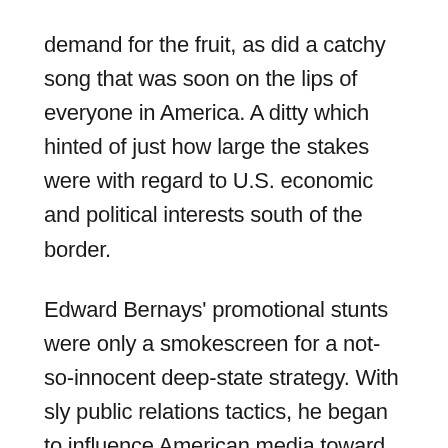demand for the fruit, as did a catchy song that was soon on the lips of everyone in America. A ditty which hinted of just how large the stakes were with regard to U.S. economic and political interests south of the border.
Edward Bernays' promotional stunts were only a smokescreen for a not-so-innocent deep-state strategy. With sly public relations tactics, he began to influence American media toward discrediting the new Guatemalan President and ultimately incite action against the duly-elected leader. In 1954, a CIA-backed coup d'état turned the government of Guatemala over to what was ostensibly a leader hand-picked by the U.S.